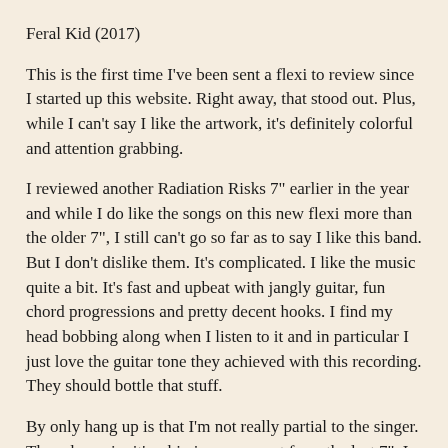Feral Kid (2017)
This is the first time I've been sent a flexi to review since I started up this website.  Right away, that stood out.  Plus, while I can't say I like the artwork, it's definitely colorful and attention grabbing.
I reviewed another Radiation Risks 7" earlier in the year and while I do like the songs on this new flexi more than the older 7", I still can't go so far as to say I like this band.  But I don't dislike them.  It's complicated.  I like the music quite a bit.  It's fast and upbeat with jangly guitar, fun chord progressions and pretty decent hooks.  I find my head bobbing along when I listen to it and in particular I just love the guitar tone they achieved with this recording.  They should bottle that stuff.
By only hang up is that I'm not really partial to the singer.  Though, again, it's a big improvement from the last 7".  I still think the band as a whole would benefit from some more melody in the vocals and a less ferocious delivery.  This singer kind of feels like he's still trying to transition from a hardcore band into whatever Radiation Risks is turning into.  The progression is happening and change is obvious; these are much better songs.  But, i don't think that the